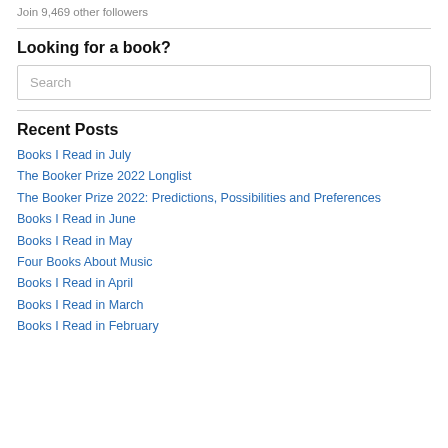Join 9,469 other followers
Looking for a book?
Search
Recent Posts
Books I Read in July
The Booker Prize 2022 Longlist
The Booker Prize 2022: Predictions, Possibilities and Preferences
Books I Read in June
Books I Read in May
Four Books About Music
Books I Read in April
Books I Read in March
Books I Read in February